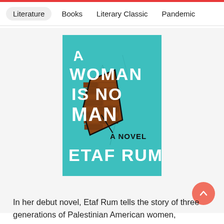Literature   Books   Literary Classic   Pandemic
[Figure (illustration): Book cover of 'A Woman Is No Man: A Novel' by Etaf Rum. Teal/turquoise cracked wall background with torn section revealing brick wall underneath. Large white brush-lettered title text reading 'A WOMAN IS NO MAN' with 'A NOVEL' in black and 'ETAF RUM' in white at the bottom.]
In her debut novel, Etaf Rum tells the story of three generations of Palestinian American women, struggling to